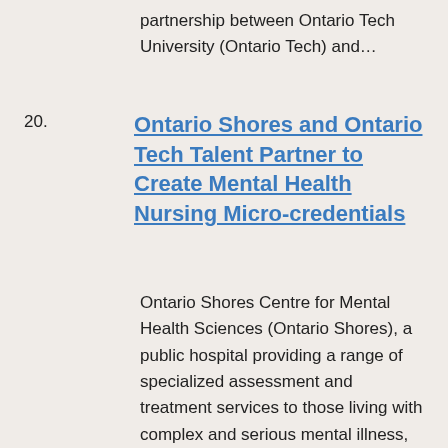partnership between Ontario Tech University (Ontario Tech) and…
Ontario Shores and Ontario Tech Talent Partner to Create Mental Health Nursing Micro-credentials
Ontario Shores Centre for Mental Health Sciences (Ontario Shores), a public hospital providing a range of specialized assessment and treatment services to those living with complex and serious mental illness, and Ontario Tech Talent (TALENT™), a workforce development organization affiliated with…